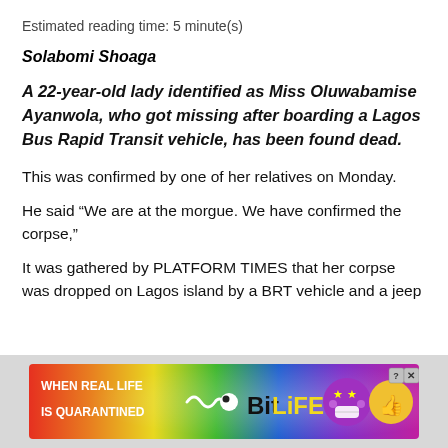Estimated reading time: 5 minute(s)
Solabomi Shoaga
A 22-year-old lady identified as Miss Oluwabamise Ayanwola, who got missing after boarding a Lagos Bus Rapid Transit vehicle, has been found dead.
This was confirmed by one of her relatives on Monday.
He said “We are at the morgue. We have confirmed the corpse,”
It was gathered by PLATFORM TIMES that her corpse was dropped on Lagos island by a BRT vehicle and a jeep
[Figure (screenshot): Advertisement banner for BitLife mobile game with rainbow gradient background, showing 'WHEN REAL LIFE IS QUARANTINED' text on left, a squiggle arrow, BitLife logo in yellow, and cartoon emoji characters on right. Close buttons in top-right corner.]